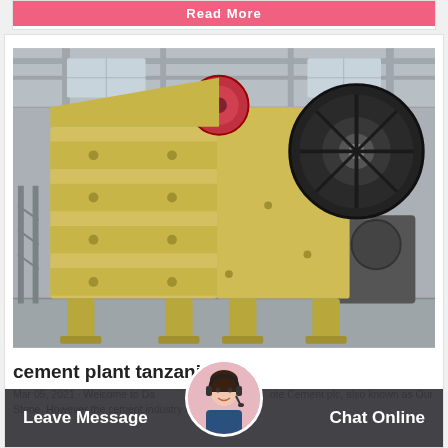Read More
[Figure (photo): Large yellow jaw crusher machine inside an industrial factory or warehouse. The machine has a prominent large black flywheel on the right side, a yellow ribbed body with multiple rows of bolt holes, and heavy-duty legs. The background shows an industrial facility with steel framework and other machinery.]
cement plant tanzania
Mar 05, 2021 · Welcome to Dangote Cement Plc. Dangote Cement plc, also known as Our Stone. However the cement industry in ...
Leave Message   Chat Online